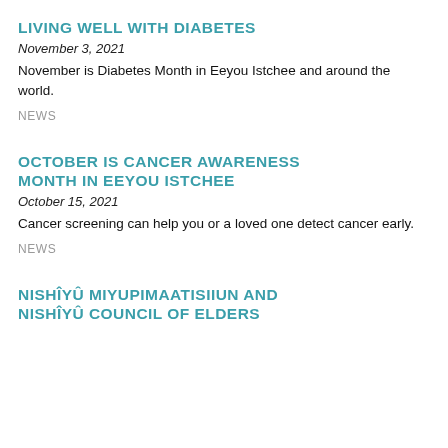LIVING WELL WITH DIABETES
November 3, 2021
November is Diabetes Month in Eeyou Istchee and around the world.
NEWS
OCTOBER IS CANCER AWARENESS MONTH IN EEYOU ISTCHEE
October 15, 2021
Cancer screening can help you or a loved one detect cancer early.
NEWS
NISHÎYÛ MIYUPIMAATISIIUN AND NISHÎYÛ COUNCIL OF ELDERS